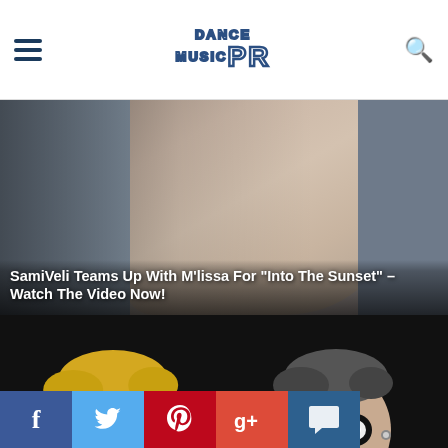Dance Music PR
[Figure (photo): Article thumbnail showing a face/person for SamiVeli and M'lissa 'Into The Sunset' article]
SamiVeli Teams Up With M'lissa For “Into The Sunset” – Watch The Video Now!
[Figure (photo): Animated/cartoon characters for Kryoman & Jounce 'Make The Gym Go Wild' article with dark background]
WATCH! KRYOMAN & JOUNCE MAKE THE GYM GO WILD
[Figure (photo): Red and grey graphic for Cheese Please, Newmi & Damian Force 'I Feel Unreal' article]
Cheese Please, Newmi & Damian Force present “I Feel Unreal”
[Figure (photo): Partial thumbnail for fourth article]
Facebook | Twitter | Pinterest | Google+ | Comments social share bar